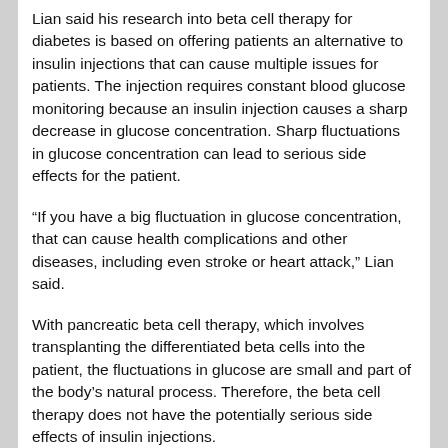Lian said his research into beta cell therapy for diabetes is based on offering patients an alternative to insulin injections that can cause multiple issues for patients. The injection requires constant blood glucose monitoring because an insulin injection causes a sharp decrease in glucose concentration. Sharp fluctuations in glucose concentration can lead to serious side effects for the patient.
“If you have a big fluctuation in glucose concentration, that can cause health complications and other diseases, including even stroke or heart attack,” Lian said.
With pancreatic beta cell therapy, which involves transplanting the differentiated beta cells into the patient, the fluctuations in glucose are small and part of the body’s natural process. Therefore, the beta cell therapy does not have the potentially serious side effects of insulin injections.
While this would be good news for diabetes patients, the challenge researchers face in creating functional beta cells at a scale necessary for medical treatments is a lack of robust cell culture systems. To overcome this hurdle, Lian